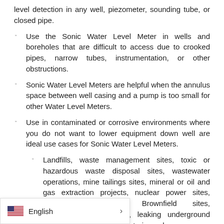level detection in any well, piezometer, sounding tube, or closed pipe.
Use the Sonic Water Level Meter in wells and boreholes that are difficult to access due to crooked pipes, narrow tubes, instrumentation, or other obstructions.
Sonic Water Level Meters are helpful when the annulus space between well casing and a pump is too small for other Water Level Meters.
Use in contaminated or corrosive environments where you do not want to lower equipment down well are ideal use cases for Sonic Water Level Meters.
Landfills, waste management sites, toxic or hazardous waste disposal sites, wastewater operations, mine tailings sites, mineral or oil and gas extraction projects, nuclear power sites, remediation projects, Brownfield sites, contaminated spill sites, leaking underground storage tanks, manufacturing dumps, over-fertilized agricultural areas, excessive pesticides.